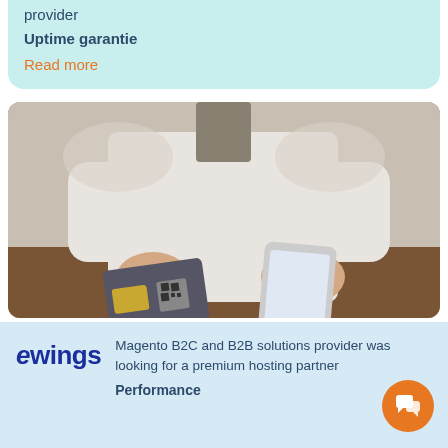provider
Uptime garantie
Read more
[Figure (photo): Person holding a credit card with QR code in one hand and a smartphone in the other hand, sitting at a wooden table, wearing a white shirt.]
ewings
Magento B2C and B2B solutions provider was looking for a premium hosting partner
Performance